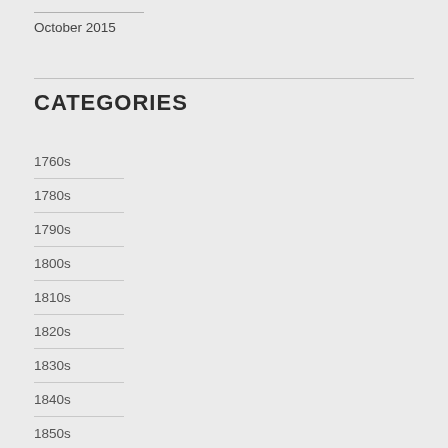October 2015
CATEGORIES
1760s
1780s
1790s
1800s
1810s
1820s
1830s
1840s
1850s
1860s